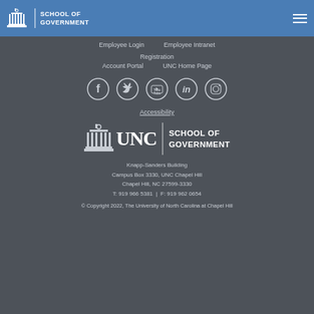UNC School of Government
Employee Login   Employee Intranet
Registration
Account Portal   UNC Home Page
[Figure (logo): Social media icons: Facebook, Twitter, YouTube, LinkedIn, Instagram]
Accessibility
[Figure (logo): UNC School of Government footer logo]
Knapp-Sanders Building
Campus Box 3330, UNC Chapel Hill
Chapel Hill, NC 27599-3330
T: 919 966 5381   |   F: 919 962 0654
© Copyright 2022, The University of North Carolina at Chapel Hill